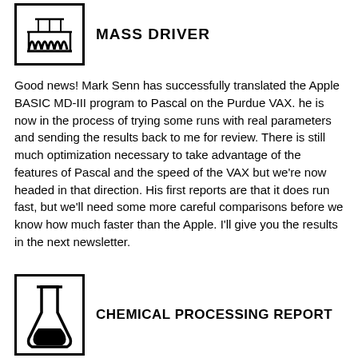[Figure (logo): Mass driver logo: box with stylized coil/winding graphic inside]
MASS DRIVER
Good news! Mark Senn has successfully translated the Apple BASIC MD-III program to Pascal on the Purdue VAX. he is now in the process of trying some runs with real parameters and sending the results back to me for review. There is still much optimization necessary to take advantage of the features of Pascal and the speed of the VAX but we’re now headed in that direction. His first reports are that it does run fast, but we’ll need some more careful comparisons before we know how much faster than the Apple. I’ll give you the results in the next newsletter.
[Figure (logo): Chemical processing report logo: box with flask/beaker graphic inside]
CHEMICAL PROCESSING REPORT